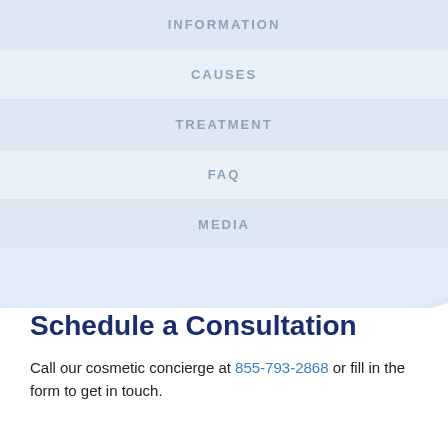INFORMATION
CAUSES
TREATMENT
FAQ
MEDIA
Schedule a Consultation
Call our cosmetic concierge at 855-793-2868 or fill in the form to get in touch.